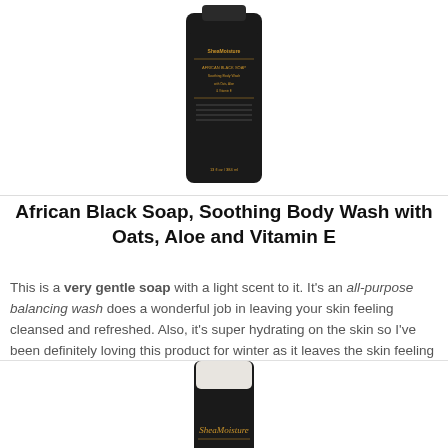[Figure (photo): Product photo of African Black Soap Soothing Body Wash bottle, black bottle with gold/amber label text, partially cropped at top]
African Black Soap, Soothing Body Wash with Oats, Aloe and Vitamin E
This is a very gentle soap with a light scent to it. It's an all-purpose balancing wash does a wonderful job in leaving your skin feeling cleansed and refreshed. Also, it's super hydrating on the skin so I've been definitely loving this product for winter as it leaves the skin feeling well moisturised.
[Figure (photo): Product photo of SheaMoisture tube/bottle, black and white tube with gold SheaMoisture script logo, partially cropped at bottom]